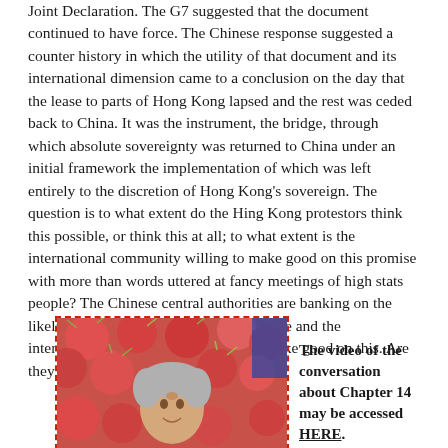Joint Declaration. The G7 suggested that the document continued to have force. The Chinese response suggested a counter history in which the utility of that document and its international dimension came to a conclusion on the day that the lease to parts of Hong Kong lapsed and the rest was ceded back to China. It was the instrument, the bridge, through which absolute sovereignty was returned to China under an initial framework the implementation of which was left entirely to the discretion of Hong Kong's sovereign. The question is to what extent do the Hing Kong protestors think this possible, or think this at all; to what extent is the international community willing to make good on this promise with more than words uttered at fancy meetings of high stats people? The Chinese central authorities are banking on the likelihood that the protestors are incapable and the international community too timid, to make good on this. Are they right?
[Figure (photo): A person with grey/white hair in front of a background of red spiky rambutan fruits. There is a dashed red border around the image.]
The video of the conversation about Chapter 14 may be accessed HERE.